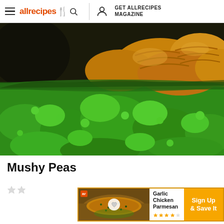allrecipes | GET ALLRECIPES MAGAZINE
[Figure (photo): Close-up food photo showing bright green mushy peas in the foreground and golden-brown fried food (fish fingers or similar) in the background on a plate.]
Mushy Peas
[Figure (photo): Advertisement banner for Garlic Chicken Parmesan recipe with 'Sign Up & Save It' call to action and star rating.]